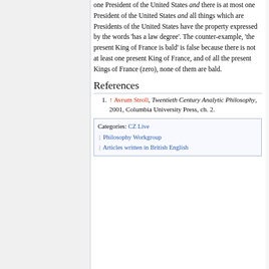one President of the United States and there is at most one President of the United States and all things which are Presidents of the United States have the property expressed by the words 'has a law degree'. The counter-example, 'the present King of France is bald' is false because there is not at least one present King of France, and of all the present Kings of France (zero), none of them are bald.
References
↑ Avrum Stroll, Twentieth Century Analytic Philosophy, 2001, Columbia University Press, ch. 2.
Categories: CZ Live | Philosophy Workgroup | Articles written in British English